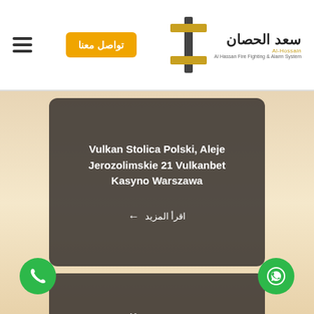تواصل معنا | سعد الحصان - Al Hassan Fire Fighting & Alarm System
Vulkan Stolica Polski, Aleje Jerozolimskie 21 Vulkanbet Kasyno Warszawa
اقرأ المزيد ←
1xbet App Ꙗ33k1 Comꙗsao Chép Linkmột Thương Hiểu Mạnh Nhất Vn Ꙗđầu Tư Tiền Onlineꙗꙗ33k1comꙗsao Chép Linkꙗꙗ Tư Tiền Hiểu Mạnh